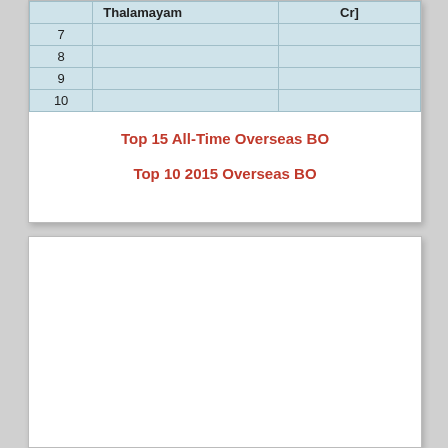|  | Thalamayam | Cr] |
| --- | --- | --- |
| 7 |  |  |
| 8 |  |  |
| 9 |  |  |
| 10 |  |  |
Top 15 All-Time Overseas BO
Top 10 2015 Overseas BO